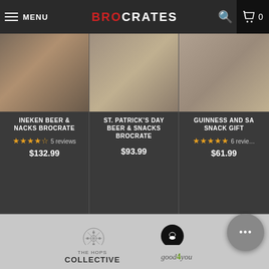MENU | BROCRATES | Search | Cart 0
[Figure (screenshot): Product card: Heineken Beer & Snacks Brocrate, 5 reviews, $132.99]
[Figure (screenshot): Product card: St. Patrick's Day Beer & Snacks Brocrate, $93.99]
[Figure (screenshot): Product card: Guinness and Sa... Snack Gift, 6 reviews, $61.99]
[Figure (logo): Hazelton's logo]
[Figure (logo): Brocrates logo]
[Figure (logo): The Hops Collective logo]
[Figure (logo): good4you logo]
[Figure (logo): Two partial logos at bottom]